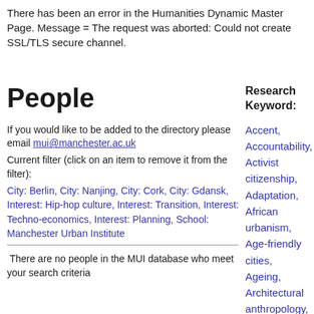There has been an error in the Humanities Dynamic Master Page. Message = The request was aborted: Could not create SSL/TLS secure channel.
People
If you would like to be added to the directory please email mui@manchester.ac.uk
Current filter (click on an item to remove it from the filter):
City: Berlin, City: Nanjing, City: Cork, City: Gdansk, Interest: Hip-hop culture, Interest: Transition, Interest: Techno-economics, Interest: Planning, School: Manchester Urban Institute
There are no people in the MUI database who meet your search criteria
Research Keyword:
Accent,
Accountability,
Activist citizenship,
Adaptation, African urbanism, Age-friendly cities,
Ageing,
Architectural anthropology,
Architectural drawing,
Architectural ethnography,
Architecture, Art,
Aspiration,
Atmosphere,
Austerity,